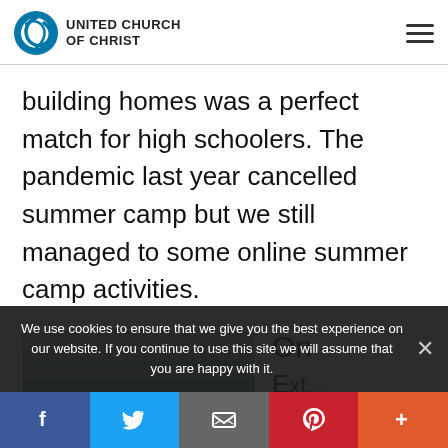UNITED CHURCH OF CHRIST
building homes was a perfect match for high schoolers. The pandemic last year cancelled summer camp but we still managed to some online summer camp activities.
[Figure (photo): Partial photo showing a sky with gradient from light blue-grey to darker blue, likely an outdoor scene.]
On
Ext...
We use cookies to ensure that we give you the best experience on our website. If you continue to use this site we will assume that you are happy with it.